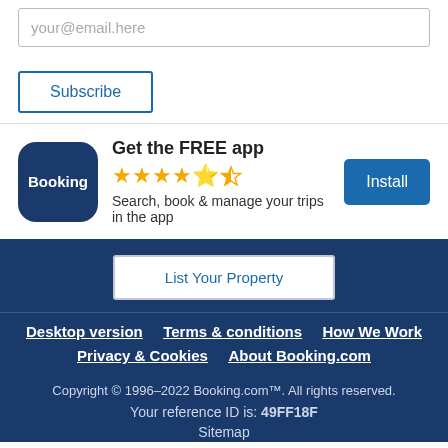your@email.here
Subscribe
[Figure (logo): Booking.com app icon: dark navy blue rounded square with white text 'Booking']
Get the FREE app
★★★★½ (star rating)
Search, book & manage your trips in the app
Install
List Your Property
Desktop version   Terms & conditions   How We Work
Privacy & Cookies   About Booking.com
Copyright © 1996–2022 Booking.com™. All rights reserved.
Your reference ID is: 49FF18F
Sitemap